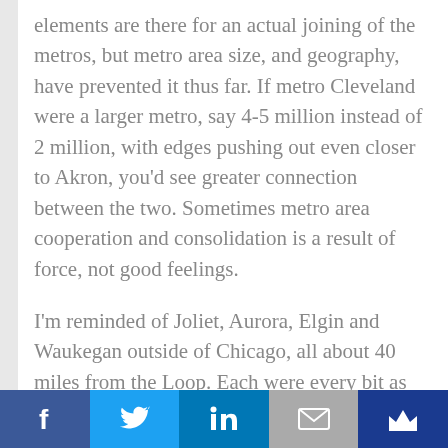elements are there for an actual joining of the metros, but metro area size, and geography, have prevented it thus far. If metro Cleveland were a larger metro, say 4-5 million instead of 2 million, with edges pushing out even closer to Akron, you'd see greater connection between the two. Sometimes metro area cooperation and consolidation is a result of force, not good feelings.
I'm reminded of Joliet, Aurora, Elgin and Waukegan outside of Chicago, all about 40 miles from the Loop. Each were every bit as independent from Chicago as Akron still
[Figure (infographic): Social sharing bar with Facebook, Twitter, LinkedIn, Email, and Crown/subscribe buttons]